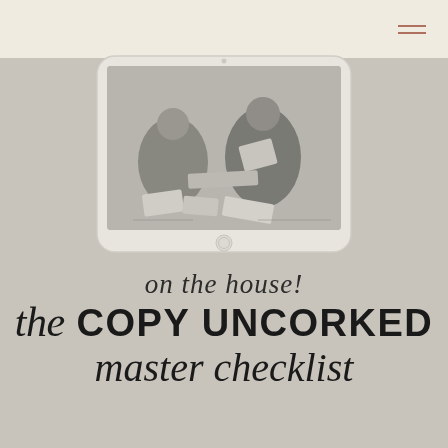[Figure (illustration): A tablet device showing a black and white photograph of people sitting on the floor, studying or reading books and papers. The tablet has a white/light gray bezel with a home button at the bottom.]
on the house!
the COPY UNCORKED master checklist